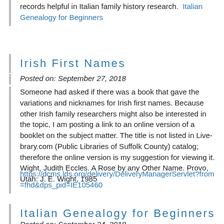records helpful in Italian family history research.  Italian Genealogy for Beginners
Irish First Names
Posted on: September 27, 2018
Someone had asked if there was a book that gave the variations and nicknames for Irish first names. Because other Irish family researchers might also be interested in the topic, I am posting a link to an online version of a booklet on the subject matter. The title is not listed in Live-brary.com (Public Libraries of Suffolk County) catalog; therefore the online version is my suggestion for viewing it. Wight, Judith Eccles. A Rose by any Other Name. Provo, Utah: J. E. Wight, 1985
https://dcms.lds.org/delivery/DeliveryManagerServlet?from=fhd&dps_pid=IE105460
Italian Genealogy for Beginners
Posted on: September 24, 2018